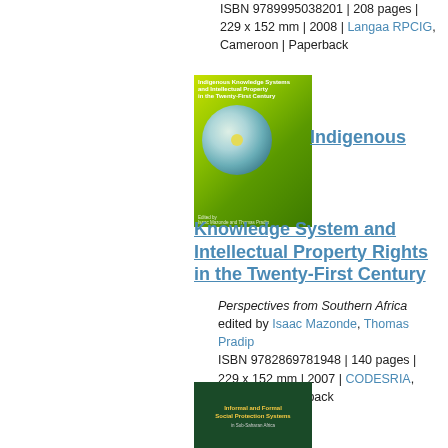ISBN 9789995038201 | 208 pages | 229 x 152 mm | 2008 | Langaa RPCIG, Cameroon | Paperback
[Figure (illustration): Book cover for Indigenous Knowledge Systems and Intellectual Property in the Twenty-First Century, green cover with CD disc image]
Indigenous Knowledge System and Intellectual Property Rights in the Twenty-First Century
Perspectives from Southern Africa
edited by Isaac Mazonde, Thomas Pradip
ISBN 9782869781948 | 140 pages | 229 x 152 mm | 2007 | CODESRIA, Senegal | Paperback
[Figure (illustration): Book cover for Informal and Formal Social Protection Systems in Sub-Saharan Africa, dark green cover]